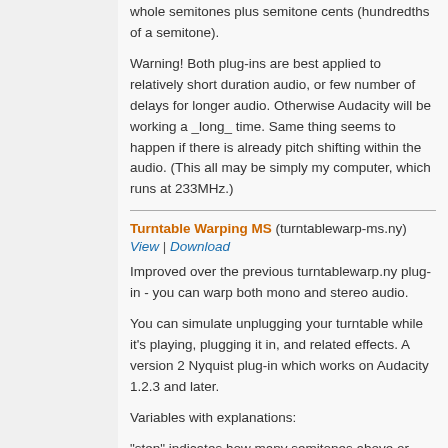whole semitones plus semitone cents (hundredths of a semitone).
Warning! Both plug-ins are best applied to relatively short duration audio, or few number of delays for longer audio. Otherwise Audacity will be working a _long_ time. Same thing seems to happen if there is already pitch shifting within the audio. (This all may be simply my computer, which runs at 233MHz.)
Turntable Warping MS (turntablewarp-ms.ny)
View | Download
Improved over the previous turntablewarp.ny plug-in - you can warp both mono and stereo audio.
You can simulate unplugging your turntable while it's playing, plugging it in, and related effects. A version 2 Nyquist plug-in which works on Audacity 1.2.3 and later.
Variables with explanations:
"step" indicates how many semitones above or below pitch of original audio (1 step = 1 semitone, 12 steps = 1 octave, etc.):